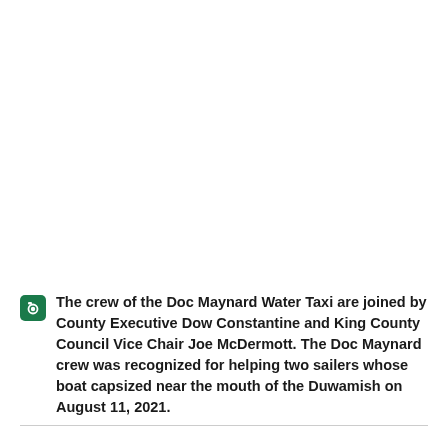[Figure (photo): Large blank/white area representing a photo placeholder taking up the upper portion of the page]
The crew of the Doc Maynard Water Taxi are joined by County Executive Dow Constantine and King County Council Vice Chair Joe McDermott. The Doc Maynard crew was recognized for helping two sailers whose boat capsized near the mouth of the Duwamish on August 11, 2021.